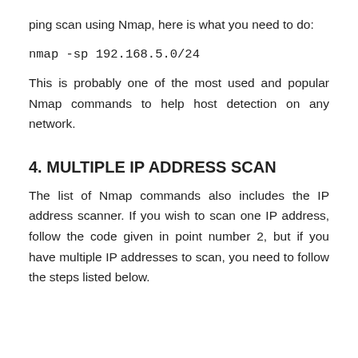ping scan using Nmap, here is what you need to do:
nmap -sp 192.168.5.0/24
This is probably one of the most used and popular Nmap commands to help host detection on any network.
4. MULTIPLE IP ADDRESS SCAN
The list of Nmap commands also includes the IP address scanner. If you wish to scan one IP address, follow the code given in point number 2, but if you have multiple IP addresses to scan, you need to follow the steps listed below.